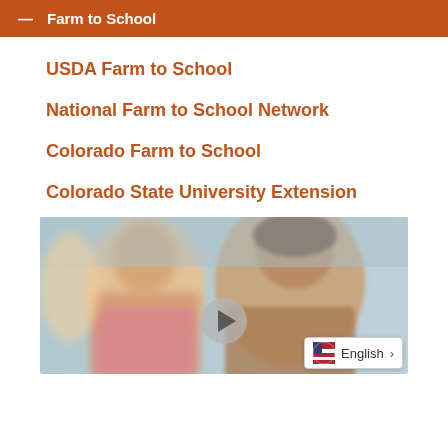Farm to School
USDA Farm to School
National Farm to School Network
Colorado Farm to School
Colorado State University Extension
[Figure (photo): Two young girls smiling in a classroom setting, with a video play button overlay. A language selector badge shows 'English' in the bottom right corner.]